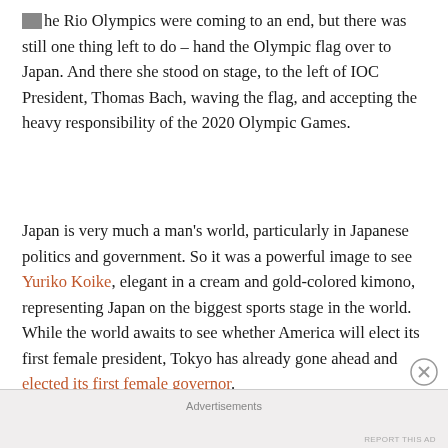The Rio Olympics were coming to an end, but there was still one thing left to do – hand the Olympic flag over to Japan. And there she stood on stage, to the left of IOC President, Thomas Bach, waving the flag, and accepting the heavy responsibility of the 2020 Olympic Games.
Japan is very much a man's world, particularly in Japanese politics and government. So it was a powerful image to see Yuriko Koike, elegant in a cream and gold-colored kimono, representing Japan on the biggest sports stage in the world. While the world awaits to see whether America will elect its first female president, Tokyo has already gone ahead and elected its first female governor.
Advertisements